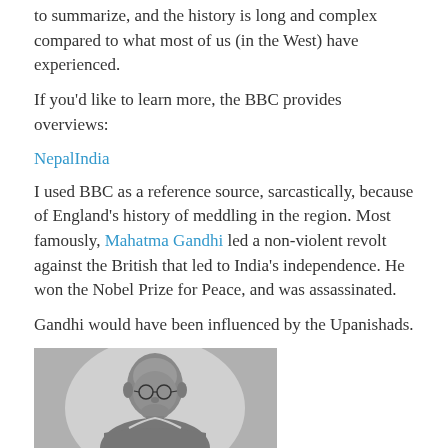to summarize, and the history is long and complex compared to what most of us (in the West) have experienced.
If you'd like to learn more, the BBC provides overviews:
NepalIndia
I used BBC as a reference source, sarcastically, because of England's history of meddling in the region. Most famously, Mahatma Gandhi led a non-violent revolt against the British that led to India's independence. He won the Nobel Prize for Peace, and was assassinated.
Gandhi would have been influenced by the Upanishads.
[Figure (photo): Black and white photograph of Mahatma Gandhi, showing his head and upper body]